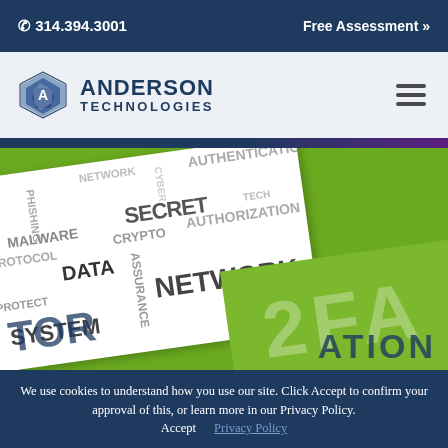314.394.3001   Free Assessment »
[Figure (logo): Anderson Technologies logo with hexagon icon and company name]
[Figure (photo): Cybersecurity word cloud image on white card with 2FA green card overlay, showing words: MALWARE, PROTOCOL, NETWORK, AUTHENTICATION, SECRET, CRYPTO, AUTHORIZATION, DATA, ASSURANCE, SYSTEM, NETWORK, PROTECT, TECH, 2FA, ATION, TOR]
We use cookies to understand how you use our site. Click Accept to confirm your approval of this, or learn more in our Privacy Policy.   Accept   Privacy Policy